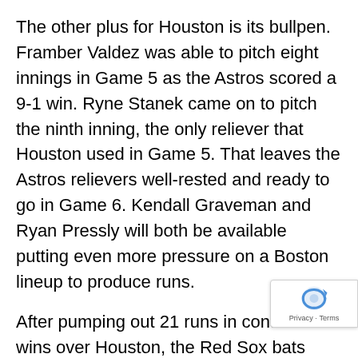The other plus for Houston is its bullpen. Framber Valdez was able to pitch eight innings in Game 5 as the Astros scored a 9-1 win. Ryne Stanek came on to pitch the ninth inning, the only reliever that Houston used in Game 5. That leaves the Astros relievers well-rested and ready to go in Game 6. Kendall Graveman and Ryan Pressly will both be available putting even more pressure on a Boston lineup to produce runs.
After pumping out 21 runs in consecutive wins over Houston, the Red Sox bats have cooled off. Boston won Games 2 and 3 by scores of 9-5 and 12-3, respectively. Enrique Hernandez (.422, 5 HR 9 RBI), Xander Bogaerts (.286, 3 HR, 6 RBI), and Rafael Devers (.325, 5 HR, 12 RBI) need to find their Game 2 and 3 bats. Devers was 2-for-3 in Game 5 but Hernandez and Bogaerts were both 0-for-4.